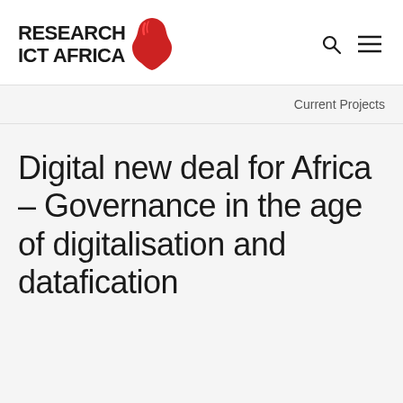[Figure (logo): Research ICT Africa logo with red Africa continent icon and bold black text reading RESEARCH ICT AFRICA]
Current Projects
Digital new deal for Africa – Governance in the age of digitalisation and datafication